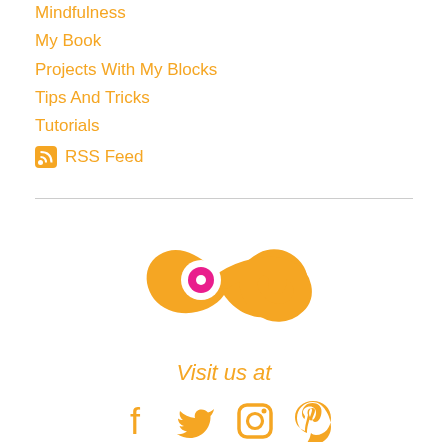Mindfulness
My Book
Projects With My Blocks
Tips And Tricks
Tutorials
RSS Feed
[Figure (logo): Orange paisley/snail-shaped logo with a magenta/pink circle eye in the center]
Visit us at
[Figure (infographic): Social media icons: Facebook, Twitter, Instagram, Pinterest — all in orange]